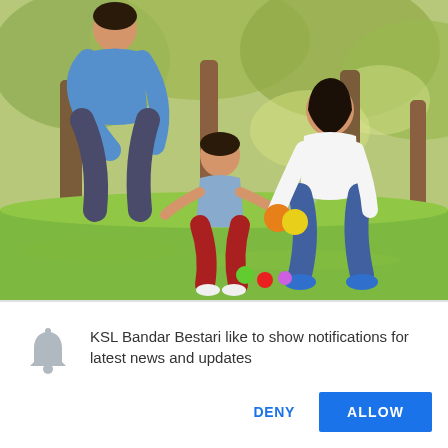[Figure (photo): A family scene in a sunny park: a man in a blue shirt leans down toward a toddler in a light blue shirt and red shorts reaching toward colorful balls; a young woman in a white top and jeans crouches smiling offering balls to the toddler; green grass and trees in background.]
KSL Bandar Bestari like to show notifications for latest news and updates